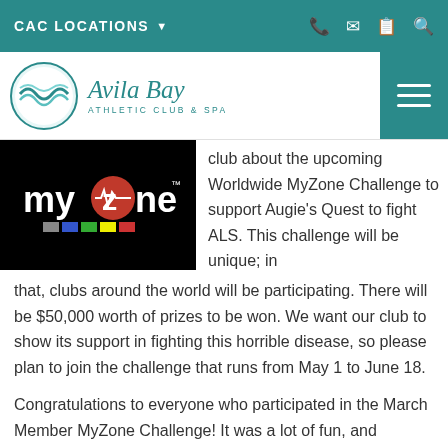CAC LOCATIONS
[Figure (logo): Avila Bay Athletic Club & Spa logo with teal circle and wave design]
[Figure (logo): MyZone logo on black background with colored squares]
club about the upcoming Worldwide MyZone Challenge to support Augie's Quest to fight ALS. This challenge will be unique; in that, clubs around the world will be participating. There will be $50,000 worth of prizes to be won. We want our club to show its support in fighting this horrible disease, so please plan to join the challenge that runs from May 1 to June 18.
Congratulations to everyone who participated in the March Member MyZone Challenge! It was a lot of fun, and